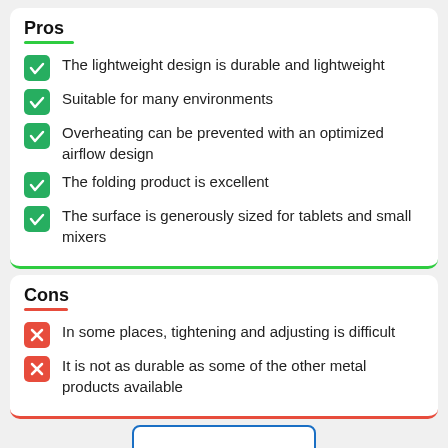Pros
The lightweight design is durable and lightweight
Suitable for many environments
Overheating can be prevented with an optimized airflow design
The folding product is excellent
The surface is generously sized for tablets and small mixers
Cons
In some places, tightening and adjusting is difficult
It is not as durable as some of the other metal products available